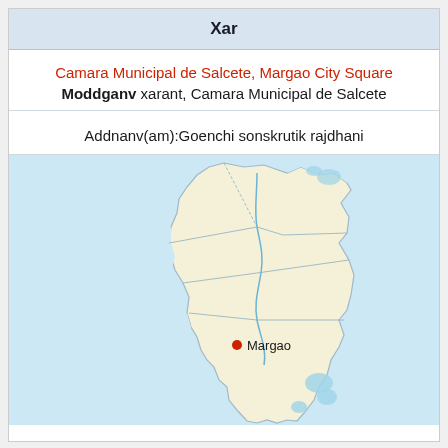Xar
Camara Municipal de Salcete, Margao City Square
Moddganv xarant, Camara Municipal de Salcete
Addnanv(am):Goenchi sonskrutik rajdhani
[Figure (map): Map of the Salcete district of Goa, India, showing administrative divisions with rivers, coastline, and a red dot marking Margao city.]